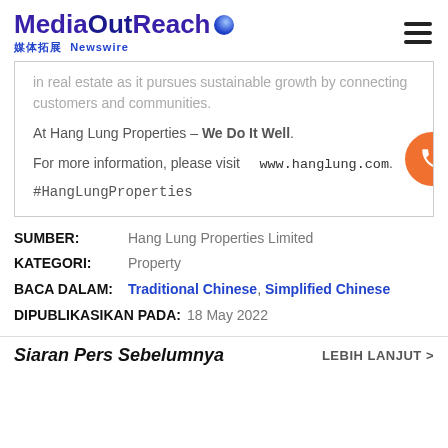MediaOutReach 媒体拓展 Newswire
in real estate as it pursues sustainable growth by connecting customers and communities.
At Hang Lung Properties – We Do It Well.
For more information, please visit www.hanglung.com.
#HangLungProperties
SUMBER: Hang Lung Properties Limited
KATEGORI: Property
BACA DALAM: Traditional Chinese, Simplified Chinese
DIPUBLIKASIKAN PADA: 18 May 2022
Siaran Pers Sebelumnya    LEBIH LANJUT >